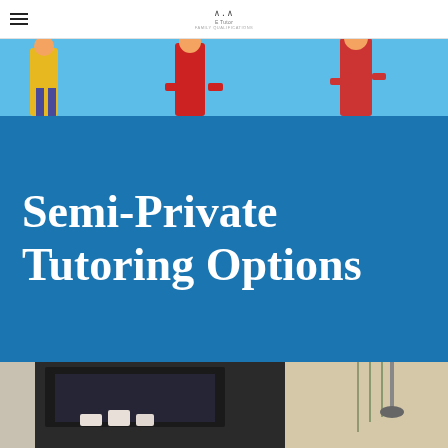Semi-Private Tutoring Options
[Figure (illustration): Cartoon illustration of students with school supplies against a light blue background]
Semi-Private Tutoring Options
[Figure (photo): Interior photo showing a room with shelving, a screen, and decorative elements]